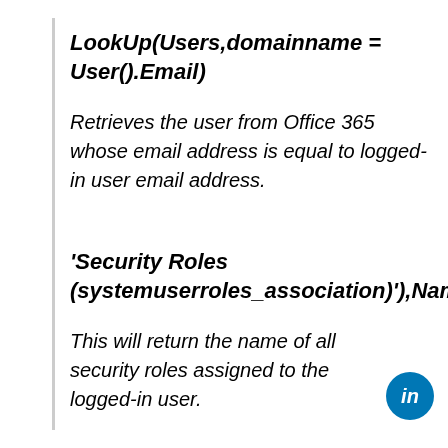LookUp(Users,domainname = User().Email)
Retrieves the user from Office 365 whose email address is equal to logged-in user email address.
'Security Roles (systemuserroles_association)'),Name
This will return the name of all security roles assigned to the logged-in user.